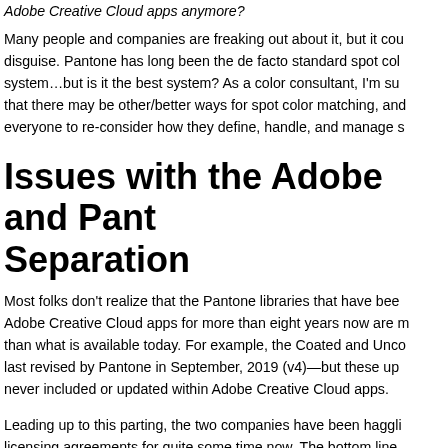Adobe Creative Cloud apps anymore?
Many people and companies are freaking out about it, but it cou disguise. Pantone has long been the de facto standard spot col system…but is it the best system? As a color consultant, I'm su that there may be other/better ways for spot color matching, an everyone to re-consider how they define, handle, and manage s
Issues with the Adobe and Pant Separation
Most folks don't realize that the Pantone libraries that have bee Adobe Creative Cloud apps for more than eight years now are m than what is available today. For example, the Coated and Unco last revised by Pantone in September, 2019 (v4)—but these up never included or updated within Adobe Creative Cloud apps.
Leading up to this parting, the two companies have been haggli licensing agreements for quite some time now. The bottom line